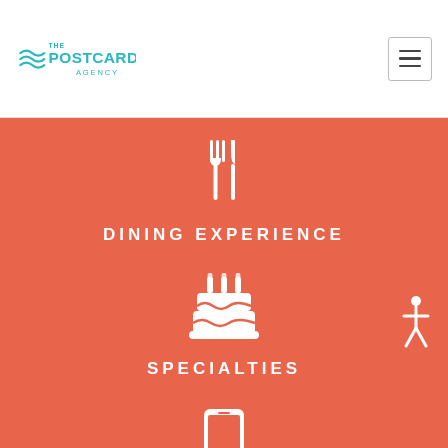[Figure (logo): The Postcard Agency logo with wave lines and teal text]
[Figure (illustration): Navigation menu hamburger button icon]
[Figure (illustration): Fork and knife dining icon in white on coral background]
DINING EXPERIENCE
[Figure (illustration): Birthday cake with candles icon in white on coral background]
SPECIALTIES
[Figure (illustration): Smartphone/mobile phone icon in white on coral background]
[Figure (illustration): Accessibility person icon in white on coral background]